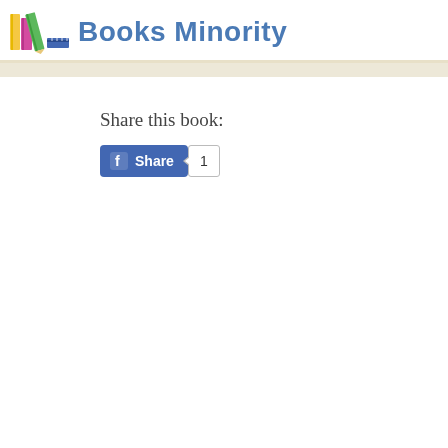Books Minority
Share this book:
[Figure (screenshot): Facebook Share button with count badge showing 1]